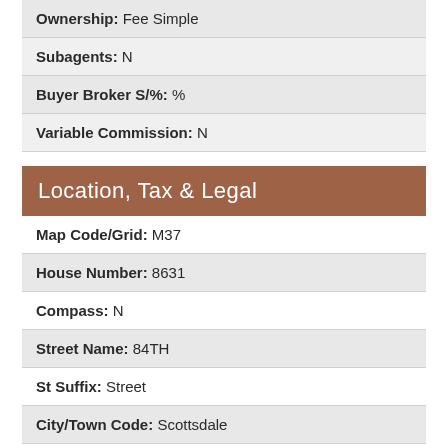| Ownership: Fee Simple |
| Subagents: N |
| Buyer Broker S/%: % |
| Variable Commission: N |
Location, Tax & Legal
| Map Code/Grid: M37 |
| House Number: 8631 |
| Compass: N |
| Street Name: 84TH |
| St Suffix: Street |
| City/Town Code: Scottsdale |
| State/Province: AZ |
| Zip Code: 85258 |